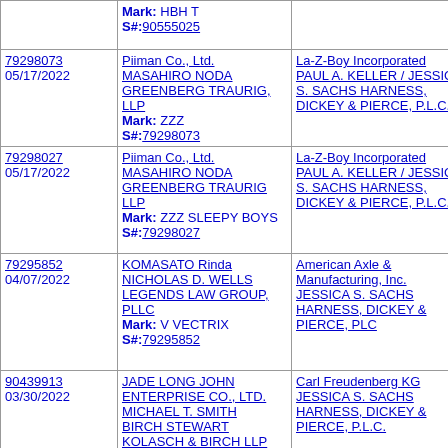| Serial/Date | Applicant/Mark | Opposer/Counsel |
| --- | --- | --- |
|  | Mark: HBH T
S#: 90555025 |  |
| 79298073
05/17/2022 | Piiman Co., Ltd.
MASAHIRO NODA
GREENBERG TRAURIG, LLP
Mark: ZZZ
S#: 79298073 | La-Z-Boy Incorporated
PAUL A. KELLER / JESSICA S. SACHS HARNESS, DICKEY & PIERCE, P.L.C. |
| 79298027
05/17/2022 | Piiman Co., Ltd.
MASAHIRO NODA
GREENBERG TRAURIG LLP
Mark: ZZZ SLEEPY BOYS
S#: 79298027 | La-Z-Boy Incorporated
PAUL A. KELLER / JESSICA S. SACHS HARNESS, DICKEY & PIERCE, P.L.C. |
| 79295852
04/07/2022 | KOMASATO Rinda
NICHOLAS D. WELLS LEGENDS LAW GROUP, PLLC
Mark: V VECTRIX
S#: 79295852 | American Axle & Manufacturing, Inc.
JESSICA S. SACHS HARNESS, DICKEY & PIERCE, PLC |
| 90439913
03/30/2022 | JADE LONG JOHN ENTERPRISE CO., LTD.
MICHAEL T. SMITH
BIRCH STEWART KOLASCH & BIRCH LLP
Mark: EVELON
S#: 90439913 | Carl Freudenberg KG
JESSICA S. SACHS HARNESS, DICKEY & PIERCE, P.L.C. |